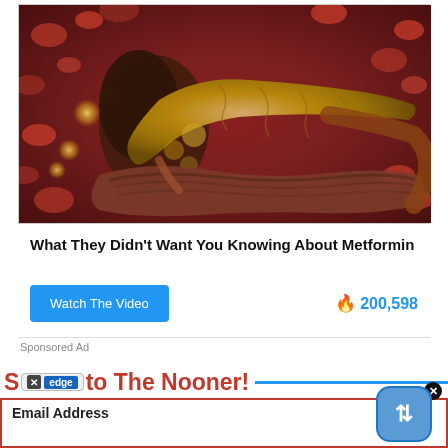[Figure (illustration): Medical illustration showing a 3D rendering of a pancreas surrounded by red blood cells and digestive organs, with golden/yellow coloring on the pancreas against a dark red background]
What They Didn't Want You Knowing About Metformin
Watch The Video
200,598
Sponsored Ad
Subscribe to The Nooner!
Email Address